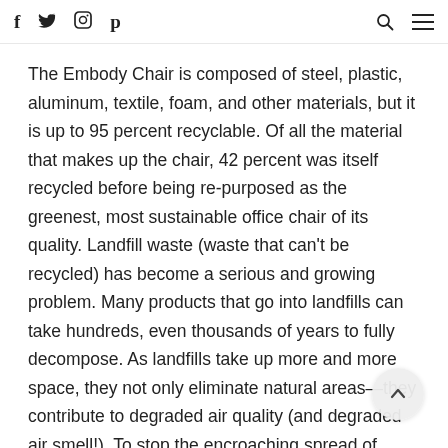f  y  [instagram]  p  [search]  [menu]
The Embody Chair is composed of steel, plastic, aluminum, textile, foam, and other materials, but it is up to 95 percent recyclable. Of all the material that makes up the chair, 42 percent was itself recycled before being re-purposed as the greenest, most sustainable office chair of its quality. Landfill waste (waste that can't be recycled) has become a serious and growing problem. Many products that go into landfills can take hundreds, even thousands of years to fully decompose. As landfills take up more and more space, they not only eliminate natural areas—they contribute to degraded air quality (and degraded air smell!). To stop the encroaching spread of landfills, it's vitally important to recycle everything we can, and the Embody Chair can help you do that. Aside from being